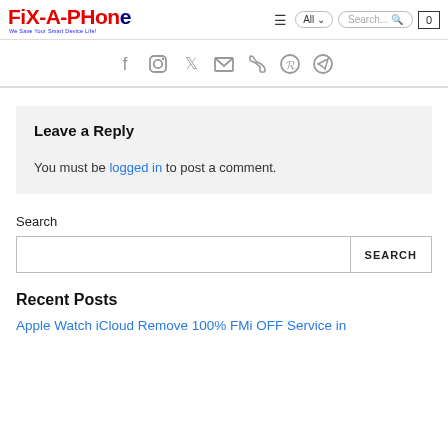Fix-A-Phone — We Save Your Smart Device Life!
[Figure (other): Social media icons row: Facebook, Instagram, Twitter, Email, Phone, Pinterest, Telegram]
Leave a Reply
You must be logged in to post a comment.
Search
Recent Posts
Apple Watch iCloud Remove 100% FMi OFF Service in